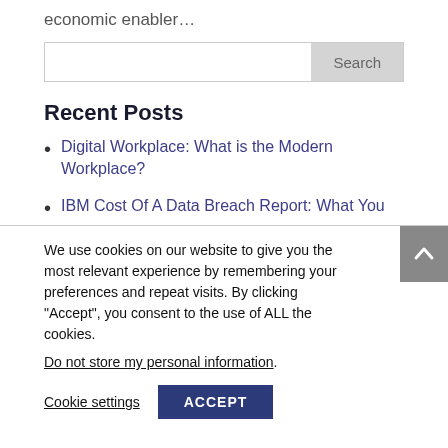economic enabler…
Search
Recent Posts
Digital Workplace: What is the Modern Workplace?
IBM Cost Of A Data Breach Report: What You
We use cookies on our website to give you the most relevant experience by remembering your preferences and repeat visits. By clicking "Accept", you consent to the use of ALL the cookies.
Do not store my personal information.
Cookie settings
ACCEPT